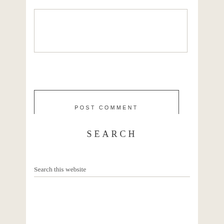[Figure (screenshot): Form input textarea with border, empty]
[Figure (screenshot): POST COMMENT button with outlined border]
SEARCH
Search this website